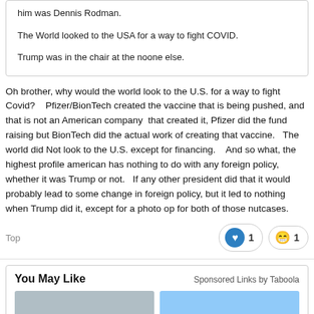him was Dennis Rodman.

The World looked to the USA for a way to fight COVID.

Trump was in the chair at the noone else.
Oh brother, why would the world look to the U.S. for a way to fight Covid?    Pfizer/BionTech created the vaccine that is being pushed, and that is not an American company  that created it, Pfizer did the fund raising but BionTech did the actual work of creating that vaccine.   The world did Not look to the U.S. except for financing.    And so what, the highest profile american has nothing to do with any foreign policy, whether it was Trump or not.   If any other president did that it would probably lead to some change in foreign policy, but it led to nothing when Trump did it, except for a photo op for both of those nutcases.
Top
You May Like
Sponsored Links by Taboola